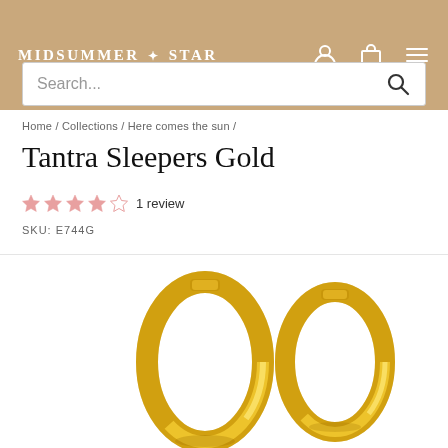MIDSUMMER * STAR
Search...
Home / Collections / Here comes the sun /
Tantra Sleepers Gold
★★★★☆ 1 review
SKU: E744G
[Figure (photo): Two gold hoop sleeper earrings (Tantra Sleepers Gold) shown side by side on a white background. The earrings are chunky gold hoops with a click-close mechanism.]